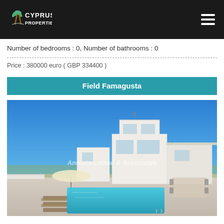Cyprus Properties
Number of bedrooms : 0, Number of bathrooms : 0
Price : 380000 euro ( GBP 334400 )
Field Famagusta
[Figure (photo): Exterior photo of a modern white villa with a swimming pool, sun loungers, umbrella, and outdoor dining area. Clear blue sky in the background. Watermark reads 'Antonis Loizou & Associates'.]